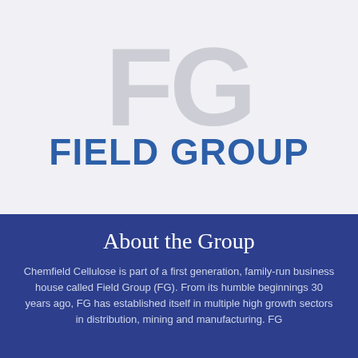[Figure (logo): Field Group (FG) logo with large grey 'FG' watermark letters behind bold blue 'FIELD GROUP' text in uppercase]
About the Group
Chemfield Cellulose is part of a first generation, family-run business house called Field Group (FG). From its humble beginnings 30 years ago, FG has established itself in multiple high growth sectors in distribution, mining and manufacturing. FG